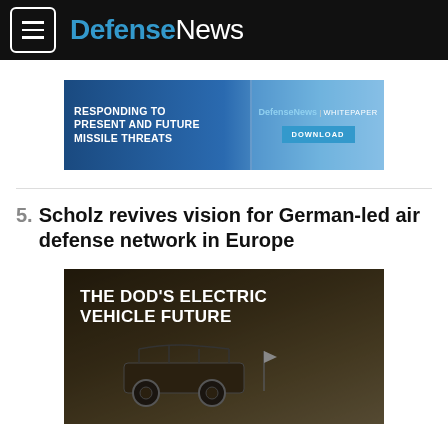DefenseNews
[Figure (screenshot): Advertisement banner: RESPONDING TO PRESENT AND FUTURE MISSILE THREATS — DefenseNews | WHITEPAPER DOWNLOAD]
5. Scholz revives vision for German-led air defense network in Europe
[Figure (photo): THE DOD'S ELECTRIC VEHICLE FUTURE — image of military off-road vehicle in desert terrain]